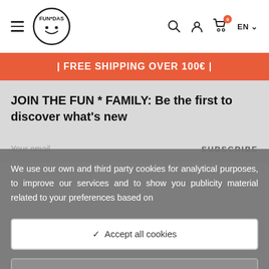FUN*DAS logo, hamburger menu, search, account, cart, EN language selector
| FREE SHIPPING OVER 100€ |
JOIN THE FUN * FAMILY: Be the first to discover what's new
Your email  SUBSCRIBE
We use our own and third party cookies for analytical purposes, to improve our services and to show you publicity material related to your preferences based on
✓ Accept all cookies
⇌ Configure